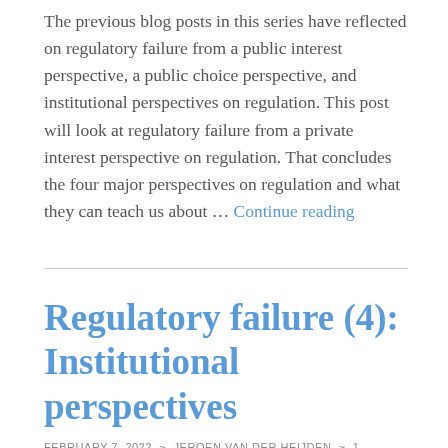The previous blog posts in this series have reflected on regulatory failure from a public interest perspective, a public choice perspective, and institutional perspectives on regulation. This post will look at regulatory failure from a private interest perspective on regulation. That concludes the four major perspectives on regulation and what they can teach us about … Continue reading
Regulatory failure (4): Institutional perspectives
FEBRUARY 7, 2022 ~ JEROEN VAN DER HEIJDEN ~ 1